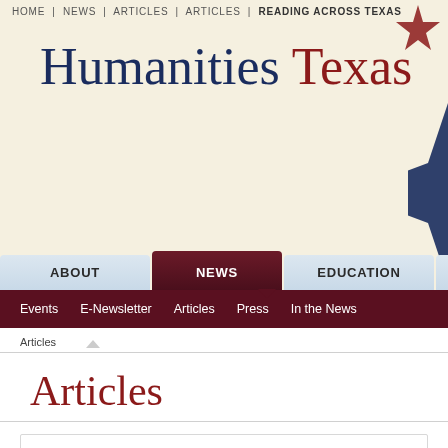HOME | NEWS | ARTICLES | ARTICLES | READING ACROSS TEXAS
Humanities Texas
ABOUT | NEWS | EDUCATION | EXHIBI...
Events  E-Newsletter  Articles  Press  In the News
Articles
Articles
Reading Across Texas
Humanities Texas
September 2019